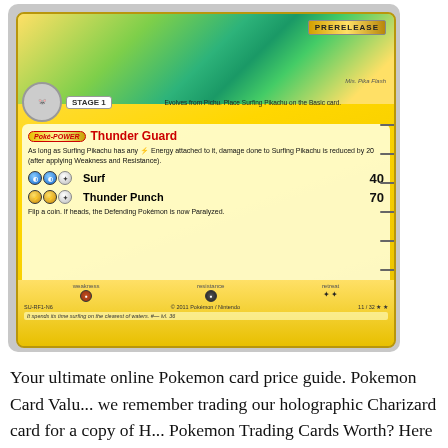[Figure (photo): Pokemon Trading Card: Surfing Pikachu Prerelease card (Stage 1, evolves from Pichu). Shows Thunder Guard Poke-Power, Surf attack for 40 damage, Thunder Punch attack for 70 damage. Card number 11/32, copyright 2011 Pokemon/Nintendo. Flavor text: It spends its time surfing on the clearest of waters. lvl 36.]
Your ultimate online Pokemon card price guide. Pokemon Card Valu... we remember trading our holographic Charizard card for a copy of H... Pokemon Trading Cards Worth? Here are a few key elements to help...